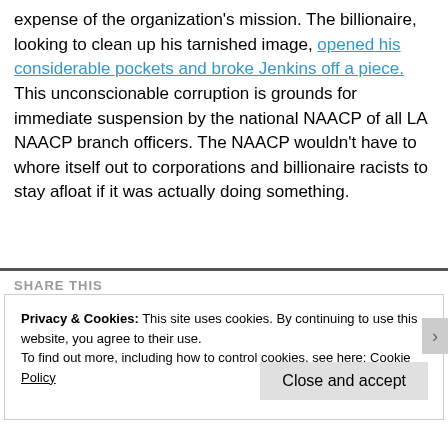expense of the organization's mission. The billionaire, looking to clean up his tarnished image, opened his considerable pockets and broke Jenkins off a piece. This unconscionable corruption is grounds for immediate suspension by the national NAACP of all LA NAACP branch officers. The NAACP wouldn't have to whore itself out to corporations and billionaire racists to stay afloat if it was actually doing something.
SHARE THIS
Privacy & Cookies: This site uses cookies. By continuing to use this website, you agree to their use. To find out more, including how to control cookies, see here: Cookie Policy